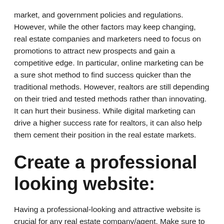market, and government policies and regulations. However, while the other factors may keep changing, real estate companies and marketers need to focus on promotions to attract new prospects and gain a competitive edge. In particular, online marketing can be a sure shot method to find success quicker than the traditional methods. However, realtors are still depending on their tried and tested methods rather than innovating. It can hurt their business. While digital marketing can drive a higher success rate for realtors, it can also help them cement their position in the real estate markets.
Create a professional looking website:
Having a professional-looking and attractive website is crucial for any real estate company/agent. Make sure to